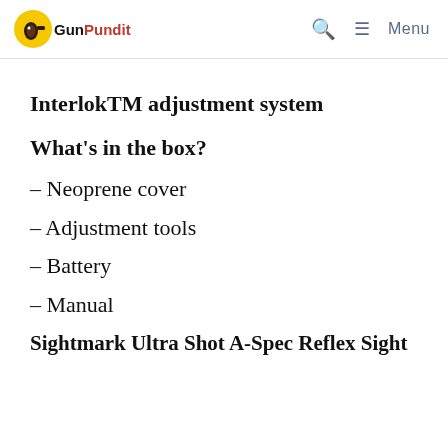GunPundit | Menu
InterlokTM adjustment system
What's in the box?
– Neoprene cover
– Adjustment tools
– Battery
– Manual
Sightmark Ultra Shot A-Spec Reflex Sight